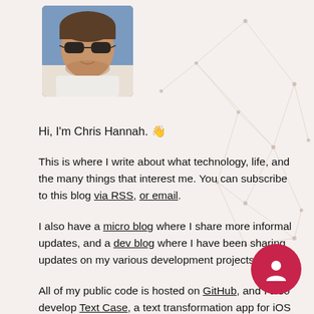[Figure (photo): Profile photo of Chris Hannah, a young man wearing sunglasses outdoors]
Hi, I'm Chris Hannah. 👋
This is where I write about what technology, life, and the many things that interest me. You can subscribe to this blog via RSS, or email.
I also have a micro blog where I share more informal updates, and a dev blog where I have been sharing updates on my various development projects.
All of my public code is hosted on GitHub, and I also develop Text Case, a text transformation app for iOS and macOS.
If you want to contact me, you can do so via Twitter, or via email.